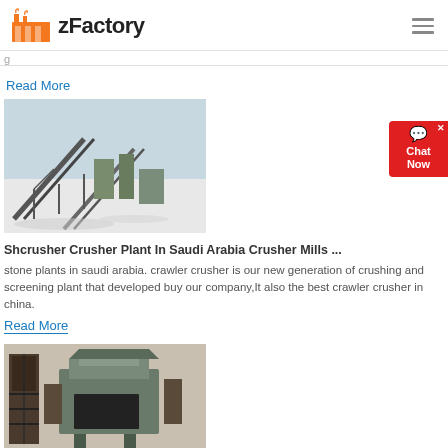zFactory
Read More
[Figure (photo): Aerial view of a crusher/conveyor plant facility in a desert/snowy landscape]
Shcrusher Crusher Plant In Saudi Arabia Crusher Mills ...
stone plants in saudi arabia. crawler crusher is our new generation of crushing and screening plant that developed buy our company,It also the best crawler crusher in china.
Read More
[Figure (photo): Industrial crusher machine equipment at a plant site]